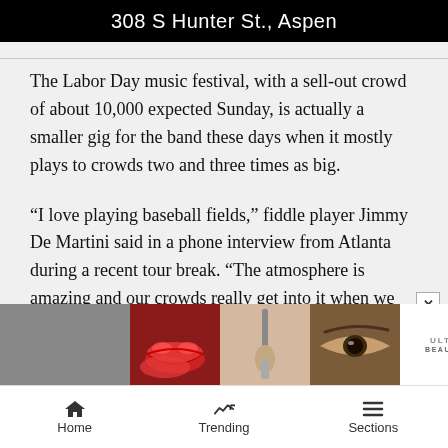[Figure (other): Black banner with white text reading '308 S Hunter St., Aspen']
The Labor Day music festival, with a sell-out crowd of about 10,000 expected Sunday, is actually a smaller gig for the band these days when it mostly plays to crowds two and three times as big.
“I love playing baseball fields,” fiddle player Jimmy De Martini said in a phone interview from Atlanta during a recent tour break. “The atmosphere is amazing and our crowds really get into it when we play outside.”
[Figure (photo): Ulta beauty advertisement banner with makeup photos (lips, brush, eye, Ulta logo, eye with makeup, SHOP NOW text)]
Home   Trending   Sections